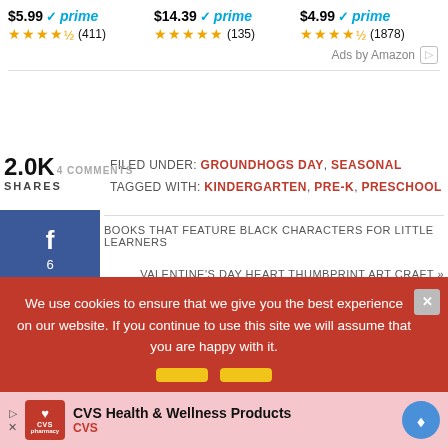$5.99 ✓prime ★★★★½ (411)  $14.39 ✓prime ★★★★★ (135)  $4.99 ✓prime ★★★★½ (1878)
Ads by Amazon
2.0K COMMENTS
SHARES
FILED UNDER: GROUNDHOGS DAY, SEASONAL
TAGGED WITH: KINDERGARTEN, PRE-K, PRESCHOOL
BOOKS THAT FEATURE BLACK CHARACTERS FOR LITTLE LEARNERS
VALENTINE'S DAY HEART THUMBPRINT ART CRAFT »
We use cookies to ensure that we give you the best experience on our website. If you continue to use this site we will assume that you are happy with it.
CVS Health & Wellness Products
CVS